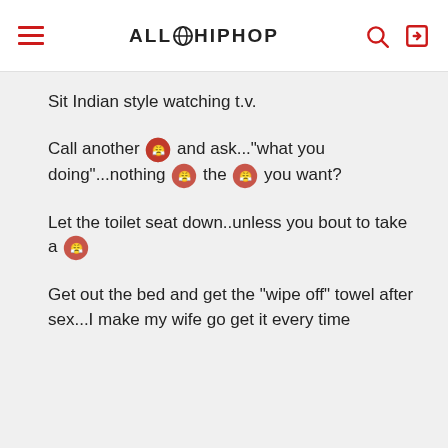ALLHIPHOP
Sit Indian style watching t.v.
Call another 😤 and ask..."what you doing"...nothing 😤 the 😤 you want?
Let the toilet seat down..unless you bout to take a 😤
Get out the bed and get the "wipe off" towel after sex...I make my wife go get it every time